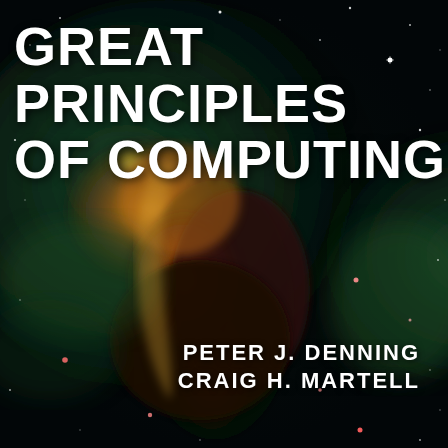[Figure (illustration): Book cover showing a Hubble Space Telescope image of a nebula (Carina Nebula pillar) with glowing gas clouds in orange, gold, and green hues against a dark star-filled background]
GREAT PRINCIPLES OF COMPUTING
PETER J. DENNING
CRAIG H. MARTELL